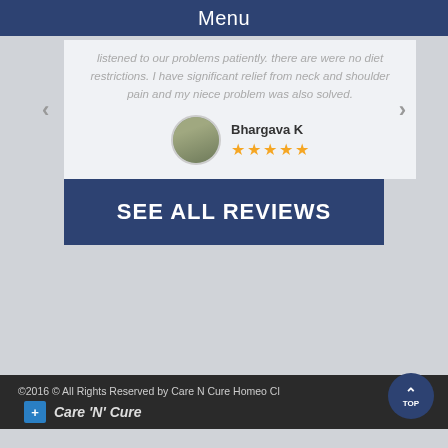Menu
listened to our problems patiently. there are were no diet restrictions. I have significant relief from neck and shoulder pain and my niece problem was also solved.
Bhargava K ★★★★★
[Figure (other): Blue button with text SEE ALL REVIEWS]
©2016 © All Rights Reserved by Care N Cure Homeo Cl   Care 'N' Cure